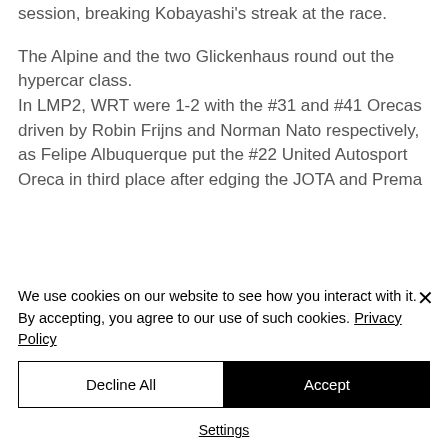session, breaking Kobayashi's streak at the race.
The Alpine and the two Glickenhaus round out the hypercar class. In LMP2, WRT were 1-2 with the #31 and #41 Orecas driven by Robin Frijns and Norman Nato respectively, as Felipe Albuquerque put the #22 United Autosport Oreca in third place after edging the JOTA and Prema
We use cookies on our website to see how you interact with it. By accepting, you agree to our use of such cookies. Privacy Policy
Decline All
Accept
Settings